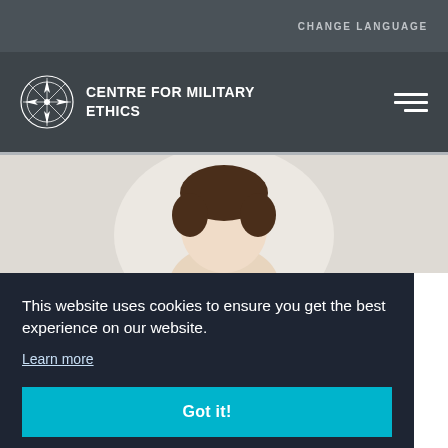CHANGE LANGUAGE
CENTRE FOR MILITARY ETHICS
[Figure (photo): Profile photo of a person with dark hair, partially visible, circular crop style]
This website uses cookies to ensure you get the best experience on our website.
Learn more
Got it!